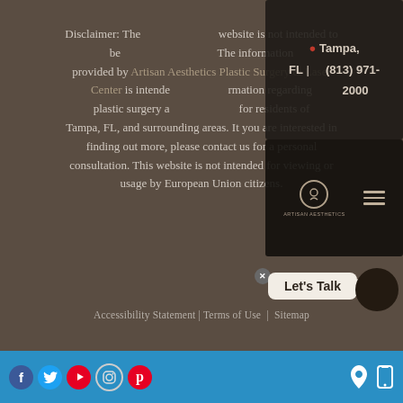Disclaimer: The [Tampa, FL | (813) 971-2000] website is not intended to be [medical advice]. The information provided by Artisan Aesthetics Plastic Surgery & Laser Center is intended [to provide general] information regarding plastic surgery and [related treatments] for residents of Tampa, FL, and surrounding areas. It you are interested in finding out more, please contact us for a personal consultation. This website is not intended for viewing or usage by European Union citizens.
[Figure (screenshot): Navigation popup overlay showing Tampa FL location and phone number (813) 971-2000 at top, and website logo with hamburger menu at bottom]
[Figure (screenshot): Chat widget showing 'Let's Talk' speech bubble with X close button and dark circular chat icon]
Accessibility Statement | Terms of Use | Sitemap
[Figure (other): Blue footer bar with social media icons (Facebook, Twitter, YouTube, Instagram, Pinterest) on left and location/mobile icons on right]